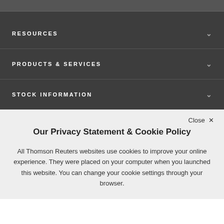RESOURCES
PRODUCTS & SERVICES
STOCK INFORMATION
Our Privacy Statement & Cookie Policy
All Thomson Reuters websites use cookies to improve your online experience. They were placed on your computer when you launched this website. You can change your cookie settings through your browser.